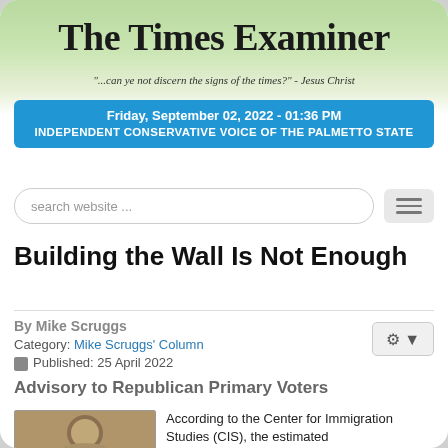The Times Examiner
"...can ye not discern the signs of the times?" - Jesus Christ
Friday, September 02, 2022 - 01:36 PM
INDEPENDENT CONSERVATIVE VOICE OF THE PALMETTO STATE
Building the Wall Is Not Enough
By Mike Scruggs
Category: Mike Scruggs' Column
Published: 25 April 2022
Advisory to Republican Primary Voters
According to the Center for Immigration Studies (CIS), the estimated